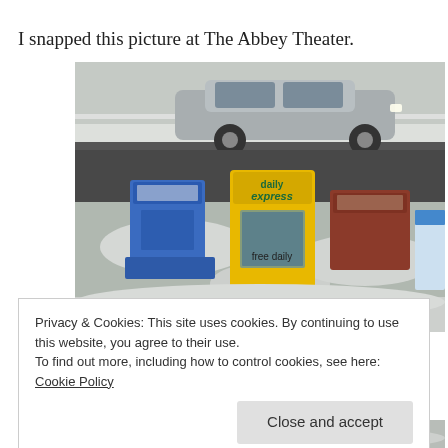I snapped this picture at The Abbey Theater.
[Figure (photo): Newspaper vending machines on a snowy street sidewalk outside The Abbey Theater. Three machines visible: a blue one on the left, a yellow 'daily express - free daily' machine in the center, and a red/brown one on the right. A silver car is parked on the street behind them with snow piled around the bases of the machines.]
Privacy & Cookies: This site uses cookies. By continuing to use this website, you agree to their use.
To find out more, including how to control cookies, see here: Cookie Policy
Close and accept